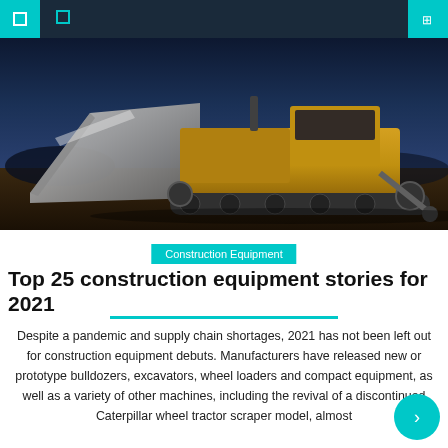Navigation bar with icons
[Figure (photo): Large yellow bulldozer/crawler dozer photographed at dusk/night with dramatic blue sky, showing a large blade and tracked undercarriage on dirt terrain]
Construction Equipment
Top 25 construction equipment stories for 2021
Despite a pandemic and supply chain shortages, 2021 has not been left out for construction equipment debuts. Manufacturers have released new or prototype bulldozers, excavators, wheel loaders and compact equipment, as well as a variety of other machines, including the revival of a discontinued Caterpillar wheel tractor scraper model, almost